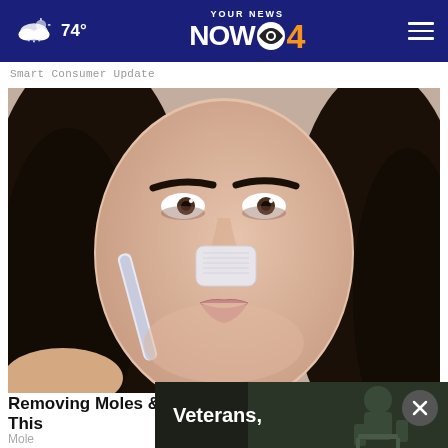74° — YOUR NEWS NOW CBS 4
Smart Consumer Update
[Figure (photo): Close-up photo of a young woman with long dark hair applying something white (strip or product) to her nose with a tool]
Removing Moles & Skin Tags Has Never Been This
Mole
[Figure (photo): Ad overlay showing text 'Veterans,' over a dark image of a person in military gear]